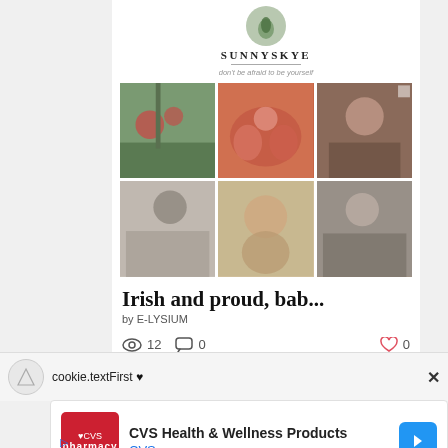[Figure (screenshot): Social media profile page for SUNNYSKYE with tagline 'don't be afraid to be yourself' and a grid of 6 photos]
Irish and proud, bab...
by E-LYSIUM
12  0  0
cookie.textFirst ♥
[Figure (screenshot): CVS Health & Wellness Products advertisement with CVS Pharmacy logo]